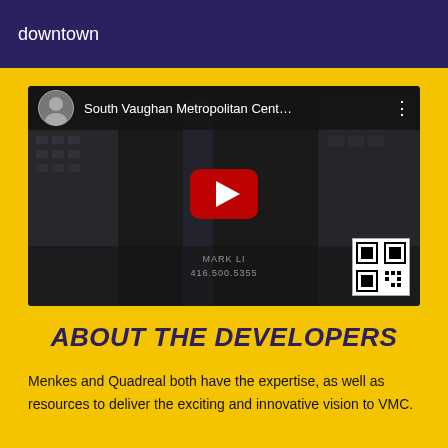downtown
[Figure (screenshot): YouTube video thumbnail for 'South Vaughan Metropolitan Cent...' with a real estate agent avatar, YouTube play button overlay, watermark 'MARK LI 416.500.5355', and a QR code in the bottom right corner.]
ABOUT THE DEVELOPERS
Menkes and Quadreal both have the expertise, as well as resources to deliver the exciting and innovative vision to VMC.